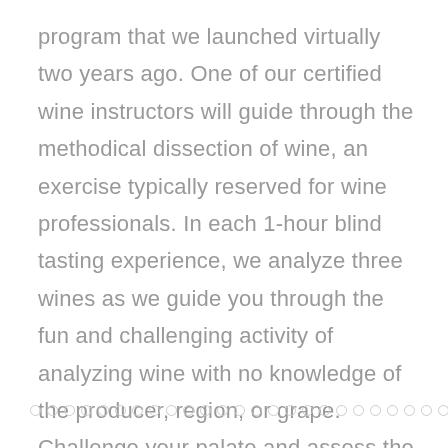program that we launched virtually two years ago. One of our certified wine instructors will guide through the methodical dissection of wine, an exercise typically reserved for wine professionals. In each 1-hour blind tasting experience, we analyze three wines as we guide you through the fun and challenging activity of analyzing wine with no knowledge of the producer, region, or grape. Challenge your palate and assess the way a wine looks, smells and tastes wine with no preconceived notions. No experience necessary!